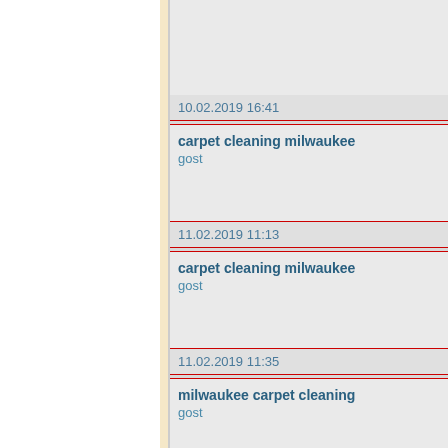| Date/Time | Content |
| --- | --- |
| 10.02.2019 16:41 | carpet cleaning milwaukee
gost |
| 11.02.2019 11:13 | carpet cleaning milwaukee
gost |
| 11.02.2019 11:35 | milwaukee carpet cleaning
gost |
| 11.02.2019 12:22 | milwaukee carpet cleaning
gost |